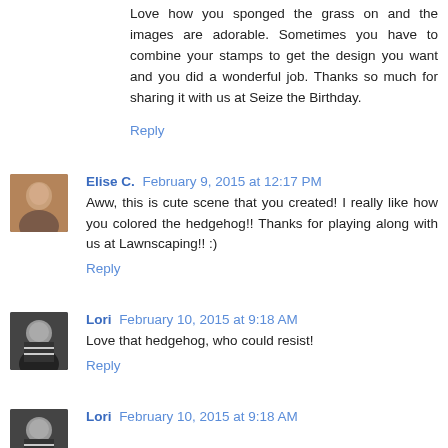Love how you sponged the grass on and the images are adorable. Sometimes you have to combine your stamps to get the design you want and you did a wonderful job. Thanks so much for sharing it with us at Seize the Birthday.
Reply
Elise C.  February 9, 2015 at 12:17 PM
Aww, this is cute scene that you created! I really like how you colored the hedgehog!! Thanks for playing along with us at Lawnscaping!! :)
Reply
Lori  February 10, 2015 at 9:18 AM
Love that hedgehog, who could resist!
Reply
Lori  February 10, 2015 at 9:18 AM